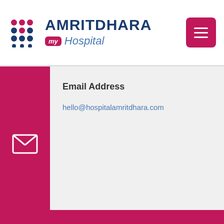AMRITDHARA my Hospital
Email Address
hello@hospitalamritdhara.com